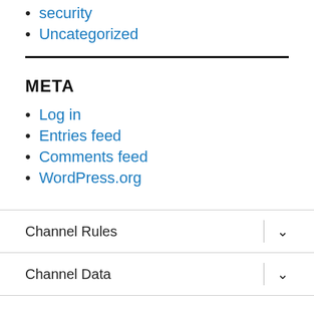security
Uncategorized
META
Log in
Entries feed
Comments feed
WordPress.org
Channel Rules
Channel Data